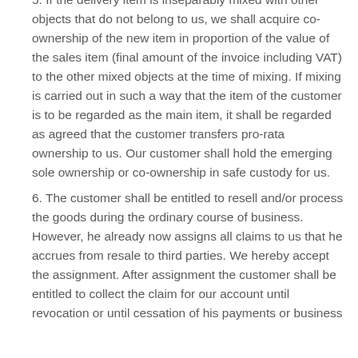5. If the delivery item is inseparably mixed with other objects that do not belong to us, we shall acquire co-ownership of the new item in proportion of the value of the sales item (final amount of the invoice including VAT) to the other mixed objects at the time of mixing. If mixing is carried out in such a way that the item of the customer is to be regarded as the main item, it shall be regarded as agreed that the customer transfers pro-rata ownership to us. Our customer shall hold the emerging sole ownership or co-ownership in safe custody for us.
6. The customer shall be entitled to resell and/or process the goods during the ordinary course of business. However, he already now assigns all claims to us that he accrues from resale to third parties. We hereby accept the assignment. After assignment the customer shall be entitled to collect the claim for our account until revocation or until cessation of his payments or business